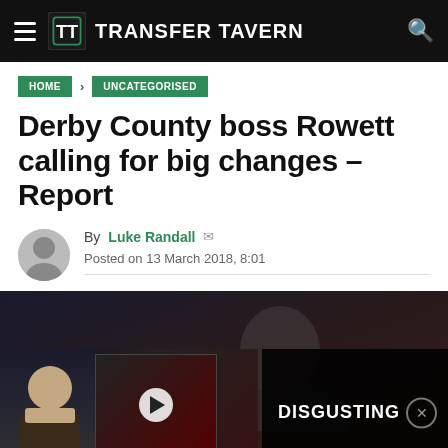TRANSFER TAVERN
HOME > UNCATEGORISED
Derby County boss Rowett calling for big changes – Report
By Luke Randall
Posted on 13 March 2018, 8:01
[Figure (screenshot): Video thumbnail showing Transfer Tavern TV segment with 'TRANSFER & PLAYER SHAME' label and a panel discussion image, alongside a black overlay panel with the word DISGUSTING and a close button]